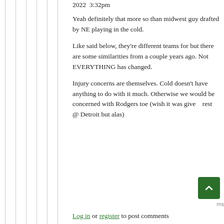2022  3:32pm
Yeah definitely that more so than midwest guy drafted by NE playing in the cold.
Like said below, they're different teams for but there are some similarities from a couple years ago. Not EVERYTHING has changed.
Injury concerns are themselves. Cold doesn't have anything to do with it much. Otherwise we would be concerned with Rodgers toe (wish it was given rest @ Detroit but alas)
Log in or register to post comments